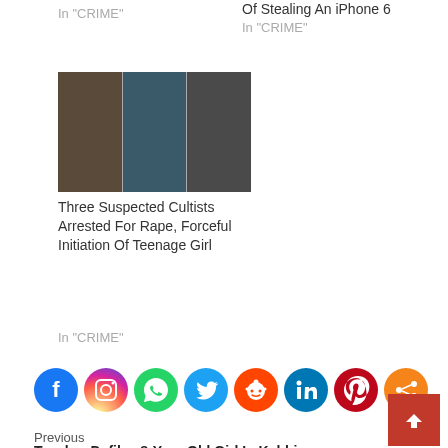In "CRIME"
Of Stealing An iPhone 6
In "CRIME"
[Figure (photo): Three young men photographed together, suspected cultists]
Three Suspected Cultists Arrested For Rape, Forceful Initiation Of Teenage Girl
In "CRIME"
[Figure (infographic): Social media sharing icons: Facebook, Instagram, WhatsApp, Twitter, Reddit, LinkedIn, Pinterest, Share]
Previous
Teacher Defiles 8-Year-Old Girl In Kebbi